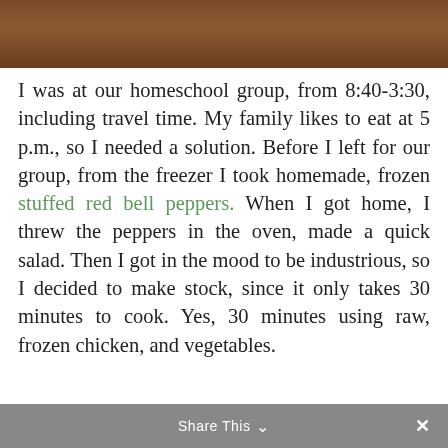[Figure (photo): Partial photo of a wooden surface or table, cropped at the top of the page]
I was at our homeschool group, from 8:40-3:30, including travel time. My family likes to eat at 5 p.m., so I needed a solution. Before I left for our group, from the freezer I took homemade, frozen stuffed red bell peppers. When I got home, I threw the peppers in the oven, made a quick salad. Then I got in the mood to be industrious, so I decided to make stock, since it only takes 30 minutes to cook. Yes, 30 minutes using raw, frozen chicken, and vegetables.
Share This ∨  ×